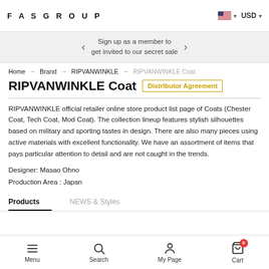FASGROUP  USD
Sign up as a member to get invited to our secret sale
Home → Brand → RIPVANWINKLE → RIPVANWINKLE Coat
RIPVANWINKLE Coat  Distributor Agreement
RIPVANWINKLE official retailer online store product list page of Coats (Chester Coat, Tech Coat, Mod Coat). The collection lineup features stylish silhouettes based on military and sporting tastes in design. There are also many pieces using active materials with excellent functionality. We have an assortment of items that pays particular attention to detail and are not caught in the trends.
Designer: Masao Ohno
Production Area : Japan
Products  NEWS & Styles
Menu  Search  My Page  Cart